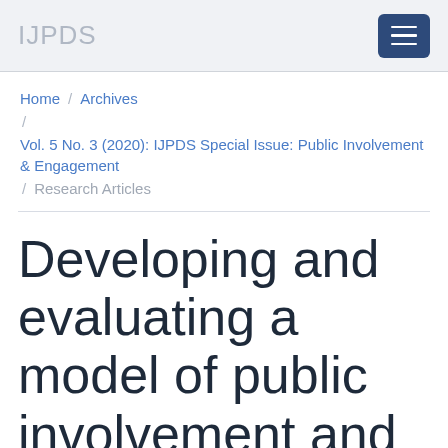IJPDS
Home / Archives / Vol. 5 No. 3 (2020): IJPDS Special Issue: Public Involvement & Engagement / Research Articles
Developing and evaluating a model of public involvement and engagement embedded in a national longitudinal